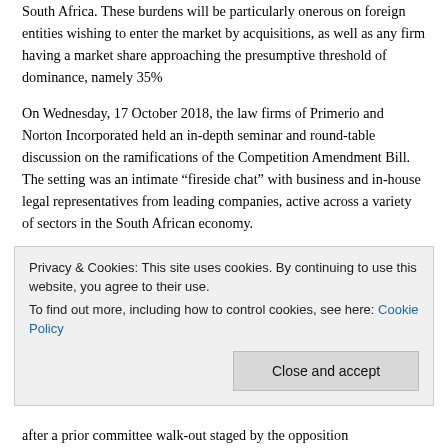South Africa. These burdens will be particularly onerous on foreign entities wishing to enter the market by acquisitions, as well as any firm having a market share approaching the presumptive threshold of dominance, namely 35%
On Wednesday, 17 October 2018, the law firms of Primerio and Norton Incorporated held an in-depth seminar and round-table discussion on the ramifications of the Competition Amendment Bill. The setting was an intimate “fireside chat” with business and in-house legal representatives from leading companies, active across a variety of sectors in the South African economy.
Moderated and given an international pan-African perspective by Primerio partner Andreas Stargard, the panel included colleagues John Oxenham and Michael-James Currie, who delved into the details of the proposed amendments to the existing Competition...
Privacy & Cookies: This site uses cookies. By continuing to use this website, you agree to their use. To find out more, including how to control cookies, see here: Cookie Policy
after a prior committee walk-out staged by the opposition